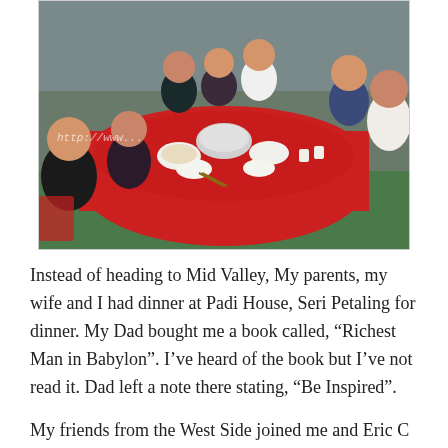[Figure (photo): Group of people seated around a large round table covered with a red tablecloth at a restaurant, with food and a hot pot in the center. A watermark URL is visible on the photo.]
Instead of heading to Mid Valley, My parents, my wife and I had dinner at Padi House, Seri Petaling for dinner. My Dad bought me a book called, “Richest Man in Babylon”. I’ve heard of the book but I’ve not read it. Dad left a note there stating, “Be Inspired”.
My friends from the West Side joined me and Eric C for dinner to celebrate our birthday at Restaurant